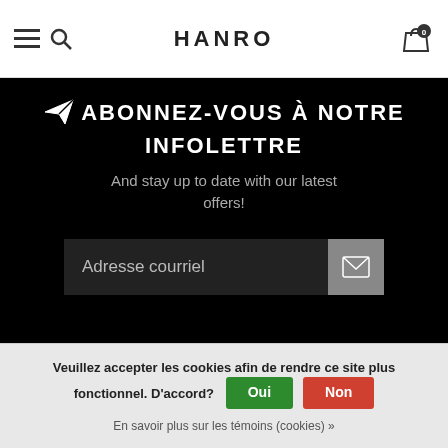HANRO
ABONNEZ-VOUS À NOTRE INFOLETTRE
And stay up to date with our latest offers!
Adresse courriel
[Figure (screenshot): HANRO footer logo in dark background]
Veuillez accepter les cookies afin de rendre ce site plus fonctionnel. D'accord?
En savoir plus sur les témoins (cookies) »